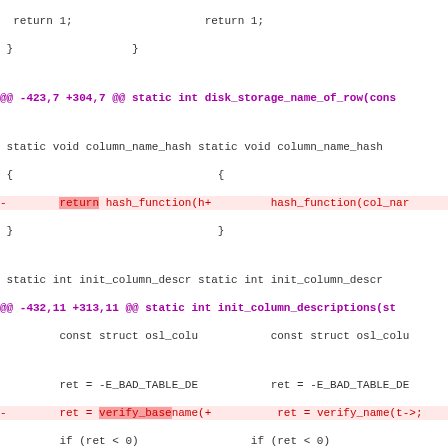Diff view of C source code showing changes to disk storage functions
return 1; (context lines)
@@ -423,7 +304,7 @@ static int disk_storage_name_of_row(cons
static void column_name_hash ... column_name_hash ...
- return hash_function(... hash_function(col_nar
@@ -432,11 +313,11 @@ static int init_column_descriptions(st
- ret = verify_basename... ret = verify_name(t->
- if (!t->desc->dir) ... if (!t->desc->dir &&
@@ -451,7 +332,7 @@ static int init_column_descriptions(stru
- ret = verify_... ret = verify_
@@ -526,9 +407,9 @@ int init_table_structure(const struct